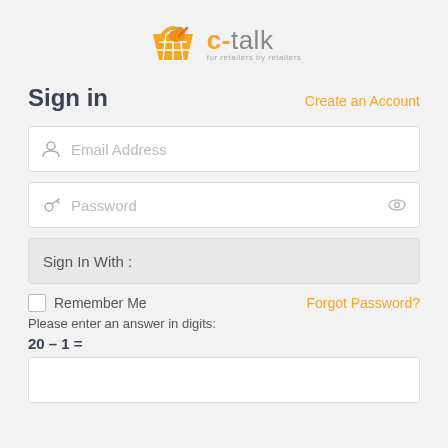[Figure (logo): c-talk logo with orange shopping basket icon and text 'c-talk for retailers by retailers']
Sign in
Create an Account
Email Address
Password
Sign In With :
Remember Me
Forgot Password?
Please enter an answer in digits:
20 – 1 =